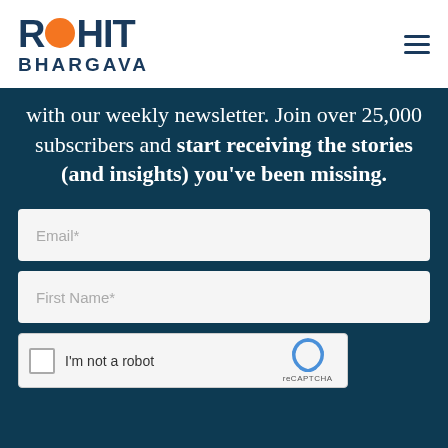Rohit Bhargava
with our weekly newsletter. Join over 25,000 subscribers and start receiving the stories (and insights) you've been missing.
[Figure (other): Email input field placeholder]
[Figure (other): First Name input field placeholder]
[Figure (other): reCAPTCHA I'm not a robot checkbox widget]